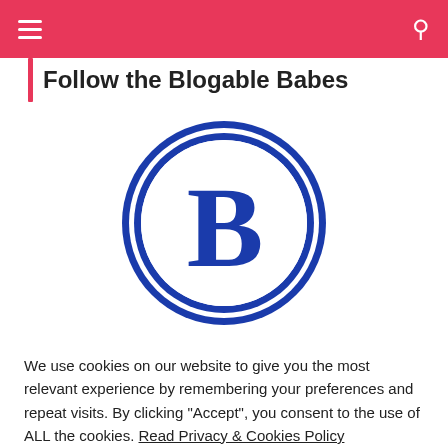☰  [navigation]  🔍
Follow the Blogable Babes
[Figure (logo): Blogable logo: circular blue badge with double ring border and large serif letter B in the center on white background]
We use cookies on our website to give you the most relevant experience by remembering your preferences and repeat visits. By clicking "Accept", you consent to the use of ALL the cookies. Read Privacy & Cookies Policy
Cookie settings   ACCEPT   REJECT